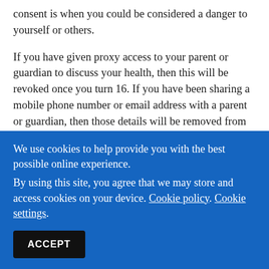consent is when you could be considered a danger to yourself or others.
If you have given proxy access to your parent or guardian to discuss your health, then this will be revoked once you turn 16. If you have been sharing a mobile phone number or email address with a parent or guardian, then those details will be removed from your medical record once you turn 16 and will then be replaced with your own contact details.
It is very important that we hold up to date contact details
We use cookies to help provide you with the best possible online experience.
By using this site, you agree that we may store and access cookies on your device. Cookie policy. Cookie settings.
ACCEPT